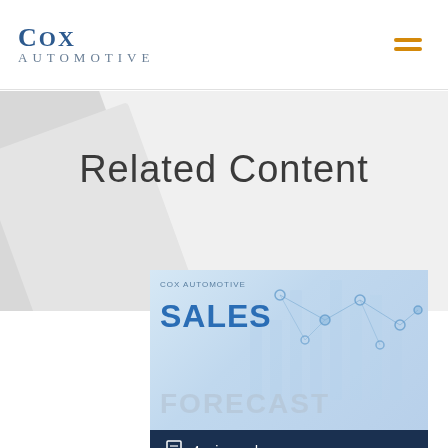Cox Automotive
Related Content
[Figure (screenshot): Cox Automotive Sales Forecast report cover thumbnail with network graph background, showing '4 min read' label at bottom]